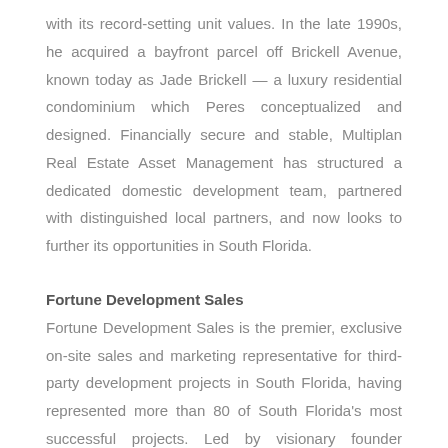with its record-setting unit values. In the late 1990s, he acquired a bayfront parcel off Brickell Avenue, known today as Jade Brickell — a luxury residential condominium which Peres conceptualized and designed. Financially secure and stable, Multiplan Real Estate Asset Management has structured a dedicated domestic development team, partnered with distinguished local partners, and now looks to further its opportunities in South Florida.
Fortune Development Sales
Fortune Development Sales is the premier, exclusive on-site sales and marketing representative for third-party development projects in South Florida, having represented more than 80 of South Florida's most successful projects. Led by visionary founder Edgardo Defortuna, Fortune has 18 offices around the world, with nearly 1,000 associates and a worldwide brokerage network, reaching prospective buyers in markets as diverse as South Florida, Manhattan, Buenos Aires, São